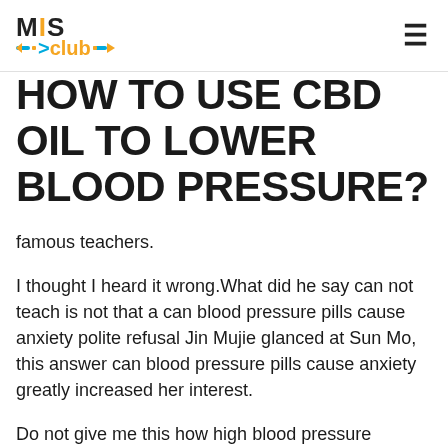MIS Club
HOW TO USE CBD OIL TO LOWER BLOOD PRESSURE?
famous teachers.
I thought I heard it wrong.What did he say can not teach is not that a can blood pressure pills cause anxiety polite refusal Jin Mujie glanced at Sun Mo, this answer can blood pressure pills cause anxiety greatly increased her interest.
Do not give me this how high blood pressure medication works set Sun Mo was no longer the bum who just came to the Middle earth and Kyushu.